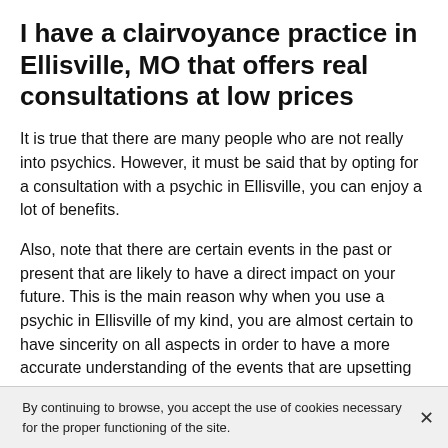I have a clairvoyance practice in Ellisville, MO that offers real consultations at low prices
It is true that there are many people who are not really into psychics. However, it must be said that by opting for a consultation with a psychic in Ellisville, you can enjoy a lot of benefits.
Also, note that there are certain events in the past or present that are likely to have a direct impact on your future. This is the main reason why when you use a psychic in Ellisville of my kind, you are almost certain to have sincerity on all aspects in order to have a more accurate understanding of the events that are upsetting you.
By continuing to browse, you accept the use of cookies necessary for the proper functioning of the site.